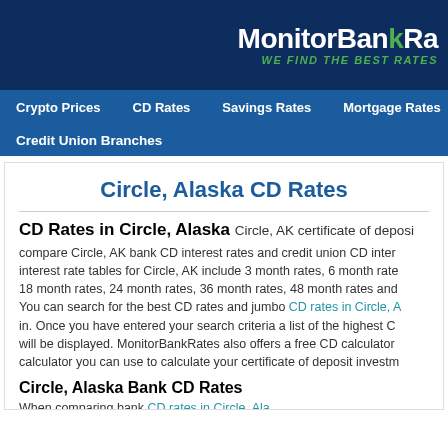MonitorBankRates WE FIND THE BEST RATES
Crypto Prices | CD Rates | Savings Rates | Mortgage Rates | Credit Union Branches
Circle, Alaska CD Rates
CD Rates in Circle, Alaska
Circle, AK certificate of deposit compare Circle, AK bank CD interest rates and credit union CD interest rate tables for Circle, AK include 3 month rates, 6 month rates, 18 month rates, 24 month rates, 36 month rates, 48 month rates and. You can search for the best CD rates and jumbo CD rates in Circle, A in. Once you have entered your search criteria a list of the highest CD will be displayed. MonitorBankRates also offers a free CD calculator calculator you can use to calculate your certificate of deposit investm
Circle, Alaska Bank CD Rates
When comparing bank CD rates in Circle, Alaska...